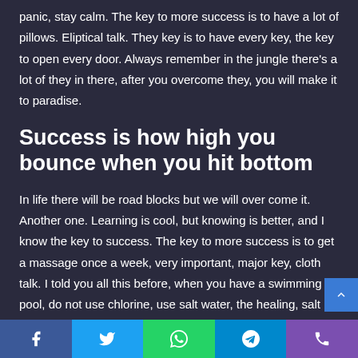panic, stay calm. The key to more success is to have a lot of pillows. Eliptical talk. They key is to have every key, the key to open every door. Always remember in the jungle there's a lot of they in there, after you overcome they, you will make it to paradise.
Success is how high you bounce when you hit bottom
In life there will be road blocks but we will over come it. Another one. Learning is cool, but knowing is better, and I know the key to success. The key to more success is to get a massage once a week, very important, major key, cloth talk. I told you all this before, when you have a swimming pool, do not use chlorine, use salt water, the healing, salt water is the healing. I'm up to something. Lif